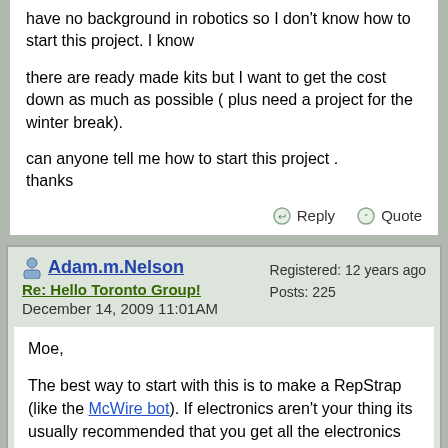have no background in robotics so I don't know how to start this project. I know

there are ready made kits but I want to get the cost down as much as possible ( plus need a project for the winter break).

can anyone tell me how to start this project .
thanks
Reply   Quote
Adam.m.Nelson
Re: Hello Toronto Group!
December 14, 2009 11:01AM
Registered: 12 years ago
Posts: 225
Moe,

The best way to start with this is to make a RepStrap (like the McWire bot). If electronics aren't your thing its usually recommended that you get all the electronics and the program on your computer and get that working first.